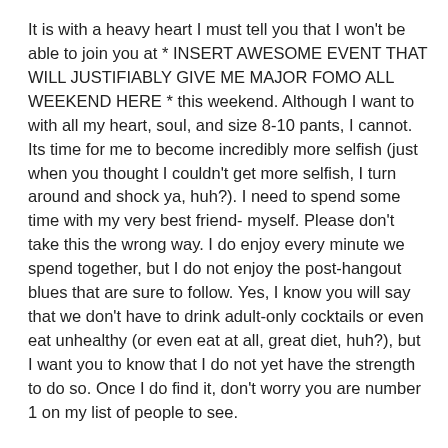It is with a heavy heart I must tell you that I won't be able to join you at * INSERT AWESOME EVENT THAT WILL JUSTIFIABLY GIVE ME MAJOR FOMO ALL WEEKEND HERE * this weekend.  Although I want to with all my heart, soul, and size 8-10 pants, I cannot.  Its time for me to become incredibly more selfish (just when you thought I couldn't get more selfish, I turn around and shock ya, huh?).  I need to spend some time with my very best friend- myself.  Please don't take this the wrong way.  I do enjoy every minute we spend together, but I do not enjoy the post-hangout blues that are sure to follow.  Yes, I know you will say that we don't have to drink adult-only cocktails or even eat unhealthy (or even eat at all, great diet, huh?), but I want you to know that I do not yet have the strength to do so.  Once I do find it, don't worry you are number 1 on my list of people to see.
Wait, wait, wait.  Before you go.  This doesn't mean we can't